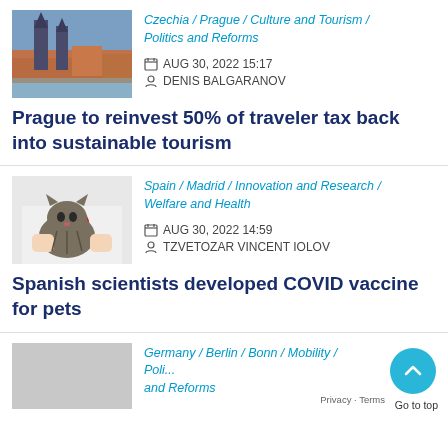Czechia / Prague / Culture and Tourism / Politics and Reforms
AUG 30, 2022 15:17
DENIS BALGARANOV
Prague to reinvest 50% of traveler tax back into sustainable tourism
Spain / Madrid / Innovation and Research / Welfare and Health
AUG 30, 2022 14:59
TZVETOZAR VINCENT IOLOV
Spanish scientists developed COVID vaccine for pets
Germany / Berlin / Bonn / Mobility / Politics and Reforms